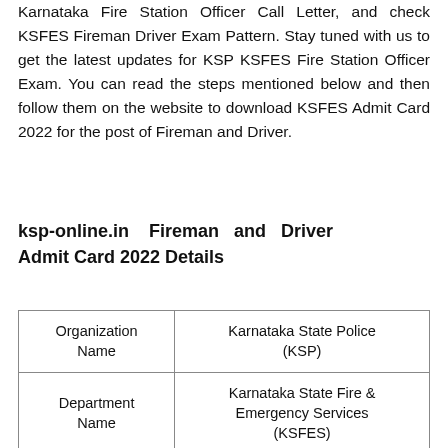Karnataka Fire Station Officer Call Letter, and check KSFES Fireman Driver Exam Pattern. Stay tuned with us to get the latest updates for KSP KSFES Fire Station Officer Exam. You can read the steps mentioned below and then follow them on the website to download KSFES Admit Card 2022 for the post of Fireman and Driver.
ksp-online.in Fireman and Driver Admit Card 2022 Details
|  |  |
| --- | --- |
| Organization Name | Karnataka State Police (KSP) |
| Department Name | Karnataka State Fire & Emergency Services (KSFES) |